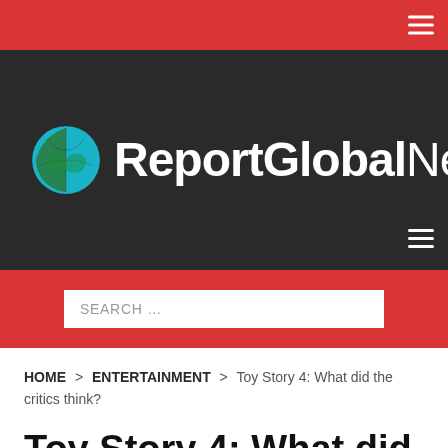ReportGlobalNews
SEARCH …
HOME > ENTERTAINMENT > Toy Story 4: What did the critics think?
Toy Story 4: What did the critics think?